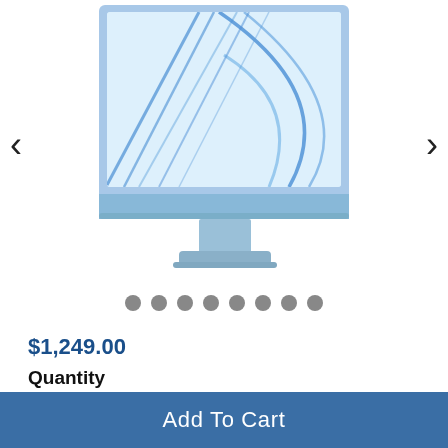[Figure (photo): Blue Apple iMac desktop computer shown from the front, cropped showing screen and base with stand. Screen displays a colorful blue abstract wallpaper with flowing lines and circles.]
$1,249.00
Quantity
1
Add To Cart